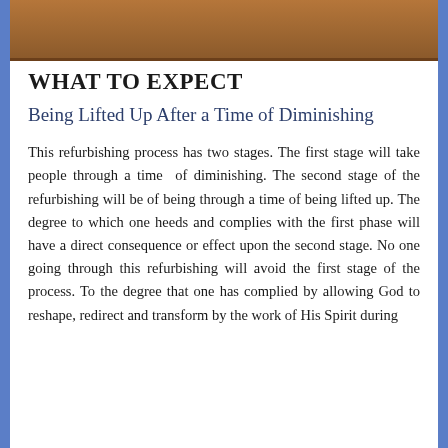[Figure (photo): Decorative image at top of page with brown/wood tones]
WHAT TO EXPECT
Being Lifted Up After a Time of Diminishing
This refurbishing process has two stages. The first stage will take people through a time  of diminishing. The second stage of the refurbishing will be of being through a time of being lifted up. The degree to which one heeds and complies with the first phase will have a direct consequence or effect upon the second stage. No one going through this refurbishing will avoid the first stage of the process. To the degree that one has complied by allowing God to reshape, redirect and transform by the work of His Spirit during